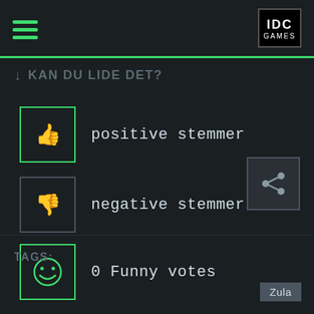[Figure (logo): IDC Games logo in top right corner, white text on black background]
KAN DU LIDE DET?
positive stemmer
negative stemmer
0 Funny votes
TAGS:
Zula